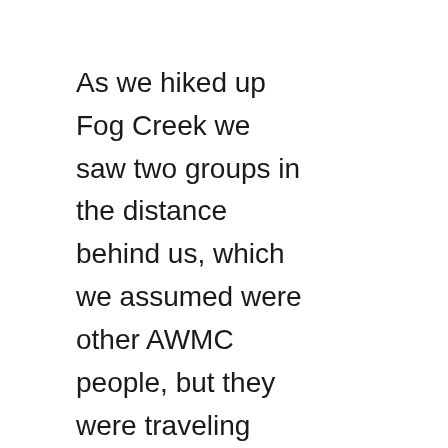As we hiked up Fog Creek we saw two groups in the distance behind us, which we assumed were other AWMC people, but they were traveling slowly and